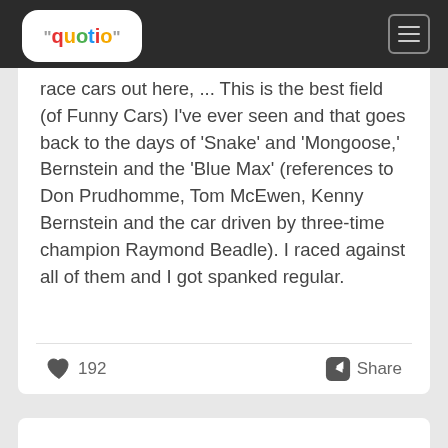[Figure (logo): Quotio logo with colorful letters on white rounded background in dark header bar]
race cars out here, ... This is the best field (of Funny Cars) I've ever seen and that goes back to the days of 'Snake' and 'Mongoose,' Bernstein and the 'Blue Max' (references to Don Prudhomme, Tom McEwen, Kenny Bernstein and the car driven by three-time champion Raymond Beadle). I raced against all of them and I got spanked regular.
192
Share